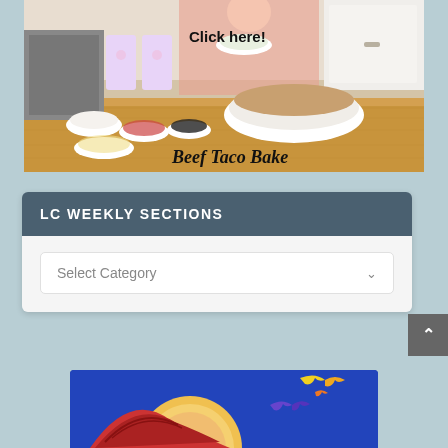[Figure (photo): A kitchen scene photo showing a woman in pink holding a bowl, with various white bowls on a wooden counter containing ingredients. Text overlays say 'Click here!' and 'Beef Taco Bake' in cursive.]
LC WEEKLY SECTIONS
[Figure (other): A dropdown selector UI element labeled 'Select Category' with a chevron arrow]
[Figure (illustration): Illustrated image on blue background showing a large moon/sun shape with a red swooping object and colorful birds (yellow, orange, purple) flying]